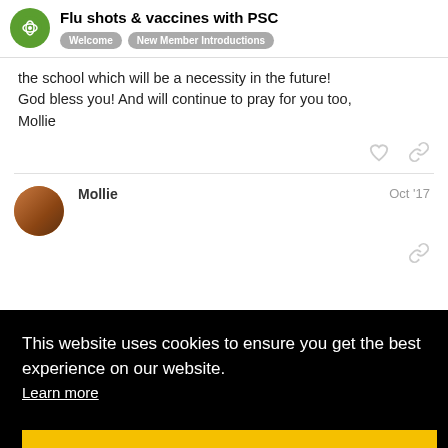Flu shots & vaccines with PSC — Welcome, New Member Introductions
the school which will be a necessity in the future! God bless you! And will continue to pray for you too, Mollie
Mollie  Oct '17
This website uses cookies to ensure you get the best experience on our website. Learn more
Got it!